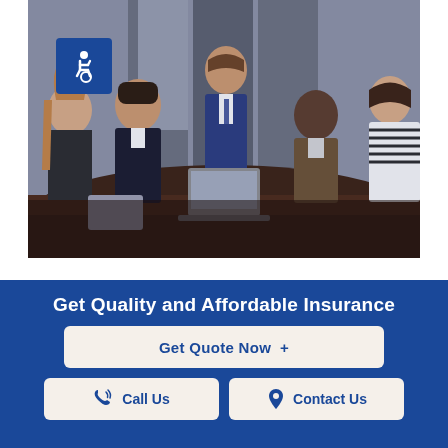[Figure (photo): Business meeting with 5 people gathered around a conference table with a laptop. One person standing in a suit, others seated. An accessibility (wheelchair) icon badge appears in the upper-left corner of the photo.]
Get Quality and Affordable Insurance
Get Quote Now  +
Call Us
Contact Us